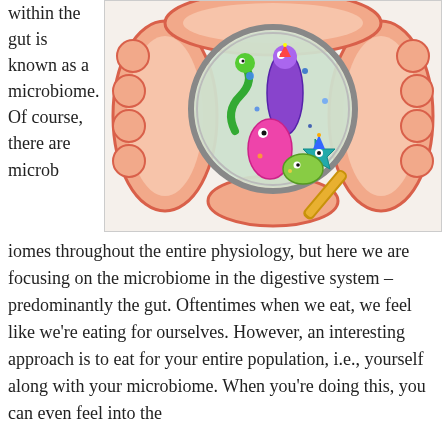within the gut is known as a microbiome. Of course, there are microbiomes throughout the entire physiology, but here we are focusing on the microbiome in the digestive system – predominantly the gut. Oftentimes when we eat, we feel like we're eating for ourselves. However, an interesting approach is to eat for your entire population, i.e., yourself along with your microbiome. When you're doing this, you can even feel into the
[Figure (illustration): Illustration of a human large intestine/colon with a magnifying glass showing cartoon microbes/bacteria inside the gut, representing the gut microbiome.]